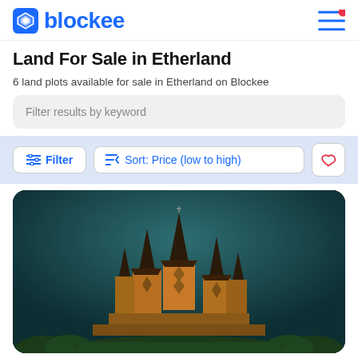blockee
Land For Sale in Etherland
6 land plots available for sale in Etherland on Blockee
Filter results by keyword
Filter  Sort: Price (low to high)
[Figure (photo): Photo of a wooden stave church with multiple pointed spires against a dark teal background sky, surrounded by green trees at the base.]